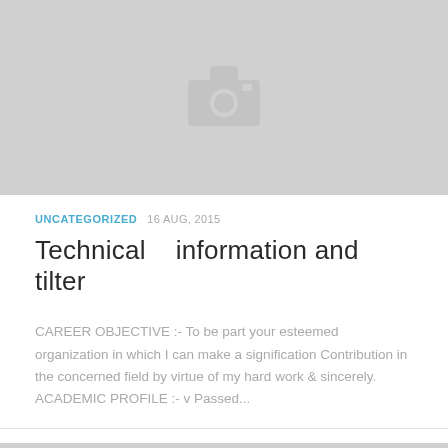[Figure (photo): Gray placeholder image with camera icon, top of page]
UNCATEGORIZED  16 AUG, 2015
Technical   information and tilter
CAREER OBJECTIVE :- To be part your esteemed organization in which I can make a signification Contribution in the concerned field by virtue of my hard work & sincerely. ACADEMIC PROFILE :- v Passed...
[Figure (photo): Gray placeholder image with camera icon, bottom of page]